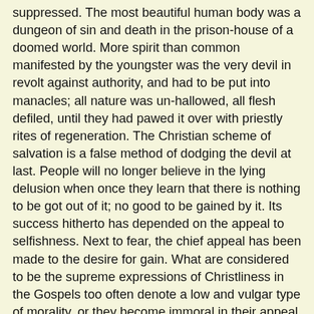suppressed. The most beautiful human body was a dungeon of sin and death in the prison-house of a doomed world. More spirit than common manifested by the youngster was the very devil in revolt against authority, and had to be put into manacles; all nature was un-hallowed, all flesh defiled, until they had pawed it over with priestly rites of regeneration. The Christian scheme of salvation is a false method of dodging the devil at last. People will no longer believe in the lying delusion when once they learn that there is nothing to be got out of it; no good to be gained by it. Its success hitherto has depended on the appeal to selfishness. Next to fear, the chief appeal has been made to the desire for gain. What are considered to be the supreme expressions of Christliness in the Gospels too often denote a low and vulgar type of morality, or they become immoral in their appeal to selfishness. "Blessed are the meek, for they shall inherit the earth." "Blessed are the merciful, for they shall obtain mercy." Blessed are the poor who are content to give up this world, their's is the promise of felicity forever in the world to come. He that giveth to the poor is making a safe investment, because he is lending to the Lord. "Be ye good bankers" is one of the most significant sayings. The appeal is continually made to the sense of personal gain, none the less selfish because it is applied to the next world instead of this; on the contrary, it is increased because the